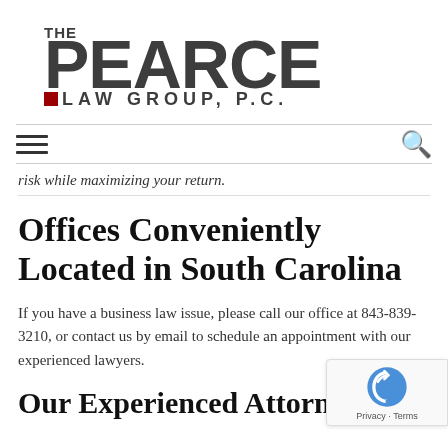[Figure (logo): The Pearce Law Group, P.C. logo — large bold dark gray text with a small red square accent]
risk while maximizing your return.
Offices Conveniently Located in South Carolina
If you have a business law issue, please call our office at 843-839-3210, or contact us by email to schedule an appointment with our experienced lawyers.
Our Experienced Attorneys